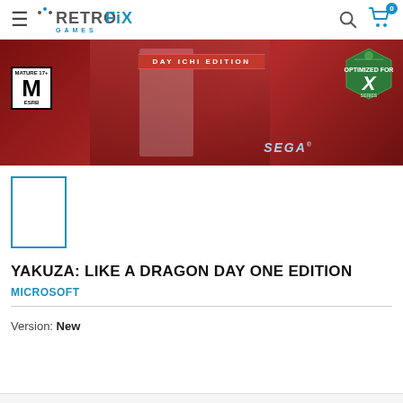Retrofix Games — Navigation header with logo, search, and cart (0 items)
[Figure (photo): Yakuza: Like a Dragon Day Ichi Edition Xbox box art banner. Shows 'DAY ICHI EDITION' text on red banner, MATURE 17+ ESRB rating box with M, SEGA logo, and 'Optimized for Series X' badge on dark red background.]
[Figure (photo): Small selected thumbnail of product image with blue border outline, white interior (image not loaded).]
YAKUZA: LIKE A DRAGON DAY ONE EDITION
MICROSOFT
Version:  New